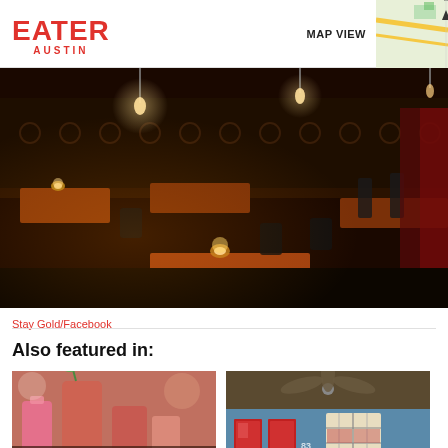EATER AUSTIN
MAP VIEW
[Figure (photo): Interior of Stay Gold bar in Austin, showing dark leather booth seating, warm wooden tables with candle votives, and dim atmospheric lighting.]
Stay Gold/Facebook
Also featured in:
[Figure (photo): Colorful cocktails with tropical garnishes on a bar surface.]
[Figure (photo): Exterior of a building with blue siding and a ceiling fan visible, red doors.]